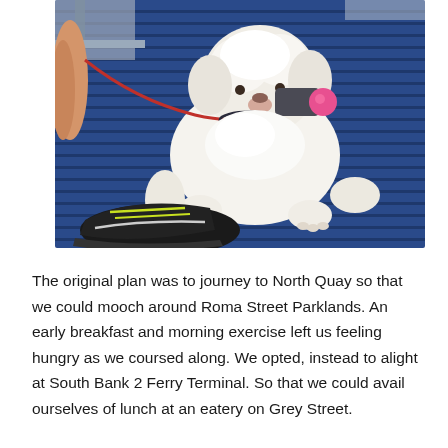[Figure (photo): A white fluffy small dog lying on a blue ribbed carpet/mat on what appears to be a ferry. The dog is on a red leash and has something in its mouth. A person's sneaker (black with yellow laces) is visible in the lower left. The dog is looking up at the camera.]
The original plan was to journey to North Quay so that we could mooch around Roma Street Parklands. An early breakfast and morning exercise left us feeling hungry as we coursed along. We opted, instead to alight at South Bank 2 Ferry Terminal. So that we could avail ourselves of lunch at an eatery on Grey Street.